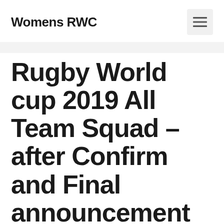Womens RWC
Rugby World cup 2019 All Team Squad – after Confirm and Final announcement
September 4, 2019 by kartikshah